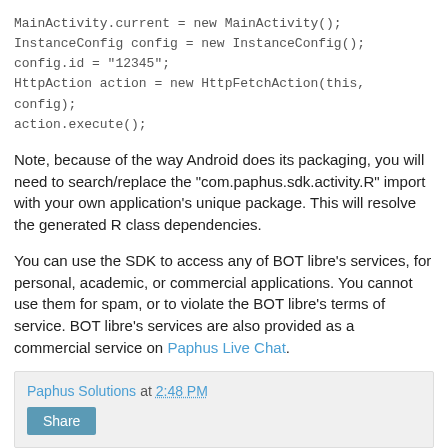MainActivity.current = new MainActivity();
InstanceConfig config = new InstanceConfig();
config.id = "12345";
HttpAction action = new HttpFetchAction(this, config);
action.execute();
Note, because of the way Android does its packaging, you will need to search/replace the "com.paphus.sdk.activity.R" import with your own application's unique package. This will resolve the generated R class dependencies.
You can use the SDK to access any of BOT libre's services, for personal, academic, or commercial applications. You cannot use them for spam, or to violate the BOT libre's terms of service. BOT libre's services are also provided as a commercial service on Paphus Live Chat.
Paphus Solutions at 2:48 PM
Share
No comments: